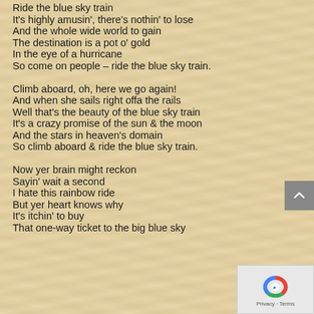Ride the blue sky train
It's highly amusin', there's nothin' to lose
And the whole wide world to gain
The destination is a pot o' gold
In the eye of a hurricane
So come on people – ride the blue sky train.
Climb aboard, oh, here we go again!
And when she sails right offa the rails
Well that's the beauty of the blue sky train
It's a crazy promise of the sun & the moon
And the stars in heaven's domain
So climb aboard & ride the blue sky train.
Now yer brain might reckon
Sayin' wait a second
I hate this rainbow ride
But yer heart knows why
It's itchin' to buy
That one-way ticket to the big blue sky